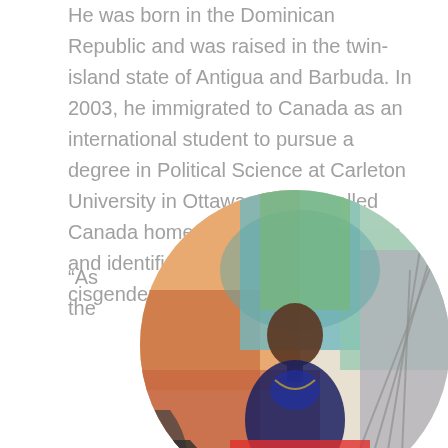He was born in the Dominican Republic and was raised in the twin-island state of Antigua and Barbuda. In 2003, he immigrated to Canada as an international student to pursue a degree in Political Science at Carleton University in Ottawa. He has called Canada home for more than 10 years and identifies as an Afro-Latino cisgender queer man.
“As the
[Figure (photo): Circular cropped photo of a man with a shaved head wearing colorful African-style clothing and holding a rainbow pride flag, standing in front of a colorful mural background.]